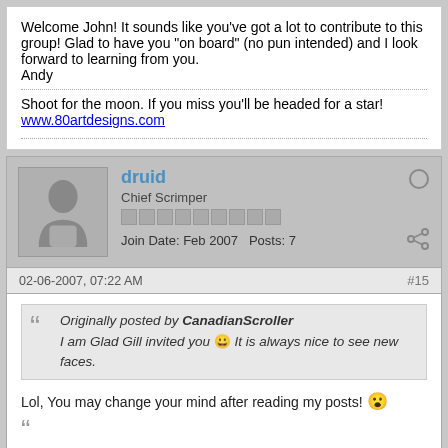Welcome John! It sounds like you've got a lot to contribute to this group! Glad to have you "on board" (no pun intended) and I look forward to learning from you.
Andy
Shoot for the moon. If you miss you'll be headed for a star!
www.80artdesigns.com
druid
Chief Scrimper
Join Date: Feb 2007  Posts: 7
02-06-2007, 07:22 AM
#15
Originally posted by CanadianScroller
I am Glad Gill invited you 🙂 It is always nice to see new faces.
Lol, You may change your mind after reading my posts! 😮